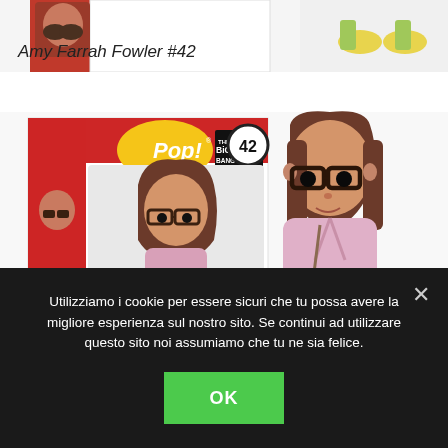[Figure (photo): Product photo showing Funko Pop Amy Farrah Fowler #42 from The Big Bang Theory — both the box packaging (left) and the vinyl figure (right). The box is red with white stripes and shows the Pop! logo and Big Bang Theory branding with number 42. The figure depicts a girl with brown hair, thick glasses, and a pink jacket. At the top of the image, partial views of other Funko Pop boxes/figures are visible.]
Amy Farrah Fowler #42
Utilizziamo i cookie per essere sicuri che tu possa avere la migliore esperienza sul nostro sito. Se continui ad utilizzare questo sito noi assumiamo che tu ne sia felice.